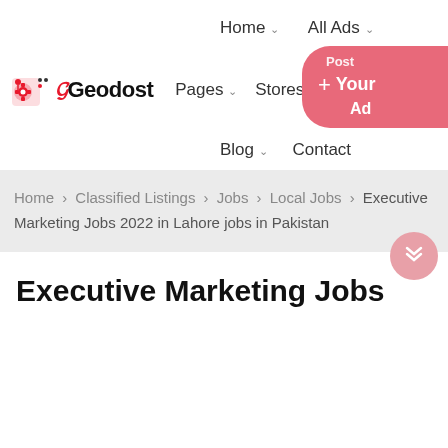Home ˅  All Ads ˅
[Figure (logo): Geodost logo with gear icon and text]
Pages ˅  Stores ˅  [chat icon] [user icon]  + Post Your Ad
Blog ˅  Contact
Home > Classified Listings > Jobs > Local Jobs > Executive Marketing Jobs 2022 in Lahore jobs in Pakistan
Executive Marketing Jobs